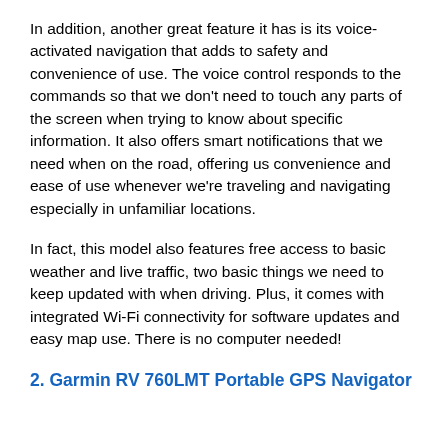In addition, another great feature it has is its voice-activated navigation that adds to safety and convenience of use. The voice control responds to the commands so that we don't need to touch any parts of the screen when trying to know about specific information. It also offers smart notifications that we need when on the road, offering us convenience and ease of use whenever we're traveling and navigating especially in unfamiliar locations.
In fact, this model also features free access to basic weather and live traffic, two basic things we need to keep updated with when driving. Plus, it comes with integrated Wi-Fi connectivity for software updates and easy map use. There is no computer needed!
2. Garmin RV 760LMT Portable GPS Navigator